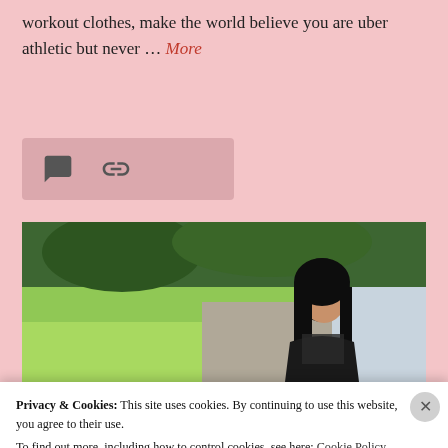workout clothes, make the world believe you are uber athletic but never … More
[Figure (photo): A young woman with long dark hair wearing a black sleeveless top, looking down, standing outdoors on a sunny day with green grass and a sidewalk in the background.]
Privacy & Cookies: This site uses cookies. By continuing to use this website, you agree to their use.
To find out more, including how to control cookies, see here: Cookie Policy
Close and accept